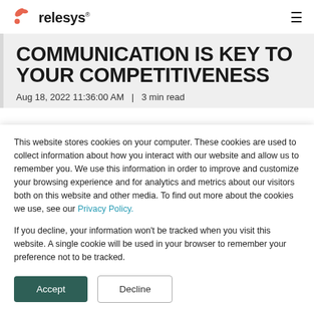relesys
COMMUNICATION IS KEY TO YOUR COMPETITIVENESS
Aug 18, 2022 11:36:00 AM  |  3 min read
This website stores cookies on your computer. These cookies are used to collect information about how you interact with our website and allow us to remember you. We use this information in order to improve and customize your browsing experience and for analytics and metrics about our visitors both on this website and other media. To find out more about the cookies we use, see our Privacy Policy.
If you decline, your information won't be tracked when you visit this website. A single cookie will be used in your browser to remember your preference not to be tracked.